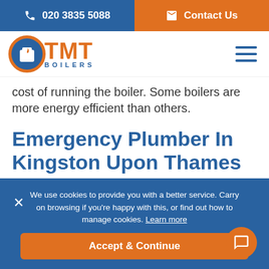020 3835 5088 | Contact Us
[Figure (logo): TMT Boilers logo — orange circle with blue boiler icon, orange TMT text, blue BOILERS text below]
cost of running the boiler. Some boilers are more energy efficient than others.
Emergency Plumber In Kingston Upon Thames
We use cookies to provide you with a better service. Carry on browsing if you're happy with this, or find out how to manage cookies. Learn more
Accept & Continue